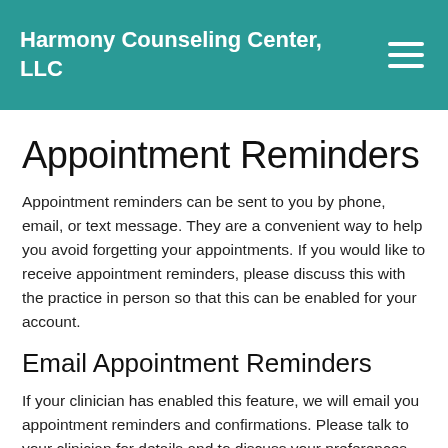Harmony Counseling Center, LLC
Appointment Reminders
Appointment reminders can be sent to you by phone, email, or text message. They are a convenient way to help you avoid forgetting your appointments. If you would like to receive appointment reminders, please discuss this with the practice in person so that this can be enabled for your account.
Email Appointment Reminders
If your clinician has enabled this feature, we will email you appointment reminders and confirmations. Please talk to your clinician for details and to discuss your preferences for receiving these emails, or to change your email on file. To